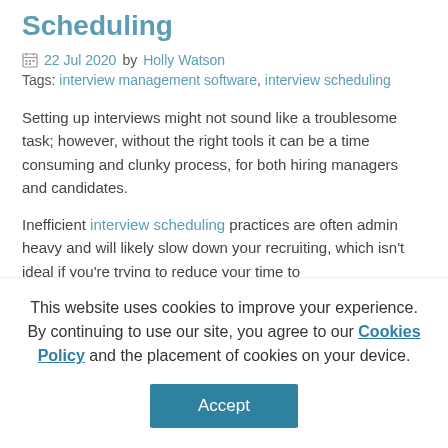Scheduling
22 Jul 2020 by Holly Watson
Tags: interview management software, interview scheduling
Setting up interviews might not sound like a troublesome task; however, without the right tools it can be a time consuming and clunky process, for both hiring managers and candidates.
Inefficient interview scheduling practices are often admin heavy and will likely slow down your recruiting, which isn't ideal if you're trying to reduce your time to
This website uses cookies to improve your experience. By continuing to use our site, you agree to our Cookies Policy and the placement of cookies on your device.
Accept